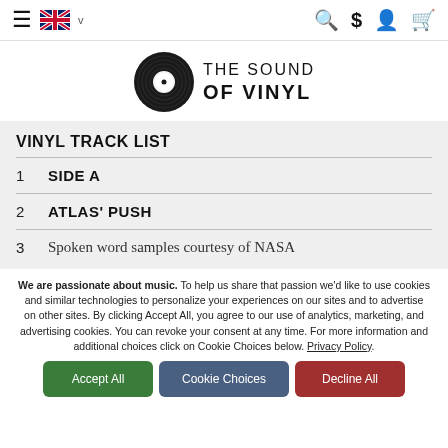Navigation bar with hamburger menu, UK flag, language selector, search, dollar sign, user account, and cart icons
[Figure (logo): The Sound of Vinyl logo: black vinyl record disc with white label center, text 'THE SOUND OF VINYL' in uppercase sans-serif]
VINYL TRACK LIST
1  SIDE A
2  ATLAS' PUSH
3  Spoken word samples courtesy of NASA
We are passionate about music. To help us share that passion we'd like to use cookies and similar technologies to personalize your experiences on our sites and to advertise on other sites. By clicking Accept All, you agree to our use of analytics, marketing, and advertising cookies. You can revoke your consent at any time. For more information and additional choices click on Cookie Choices below. Privacy Policy.